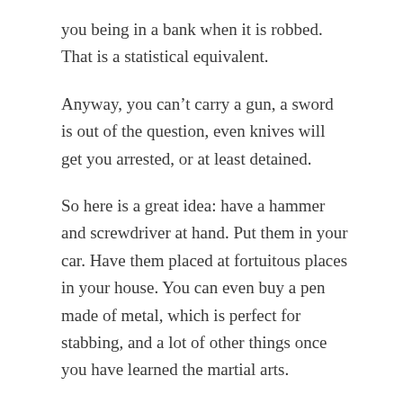you being in a bank when it is robbed. That is a statistical equivalent.
Anyway, you can't carry a gun, a sword is out of the question, even knives will get you arrested, or at least detained.
So here is a great idea: have a hammer and screwdriver at hand. Put them in your car. Have them placed at fortuitous places in your house. You can even buy a pen made of metal, which is perfect for stabbing, and a lot of other things once you have learned the martial arts.